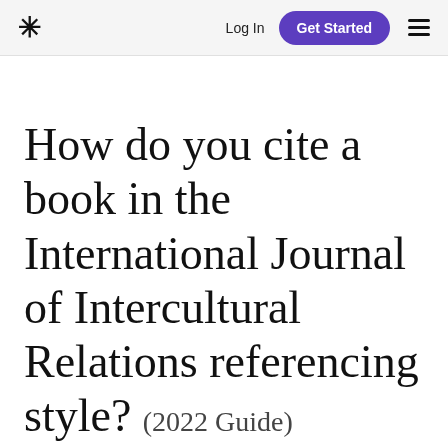* Log In Get Started ☰
How do you cite a book in the International Journal of Intercultural Relations referencing style? (2022 Guide)